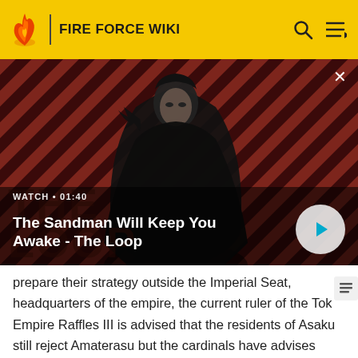FIRE FORCE WIKI
[Figure (screenshot): Video thumbnail showing a dark figure wearing a cape with a raven on their shoulder, set against a red and dark diagonal striped background. Title reads 'The Sandman Will Keep You Awake - The Loop'. Watch time 01:40.]
prepare their strategy outside the Imperial Seat, headquarters of the empire, the current ruler of the Tok Empire Raffles III is advised that the residents of Asaku still reject Amaterasu but the cardinals have advises against provoking Shinmon, also known as the Destroyer God. Joker and Shinmon stage a frontal attack on the